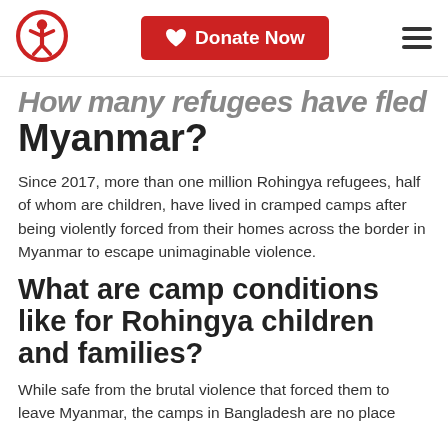Save the Children logo | Donate Now | Menu
How many refugees have fled Myanmar?
Since 2017, more than one million Rohingya refugees, half of whom are children, have lived in cramped camps after being violently forced from their homes across the border in Myanmar to escape unimaginable violence.
What are camp conditions like for Rohingya children and families?
While safe from the brutal violence that forced them to leave Myanmar, the camps in Bangladesh are no place